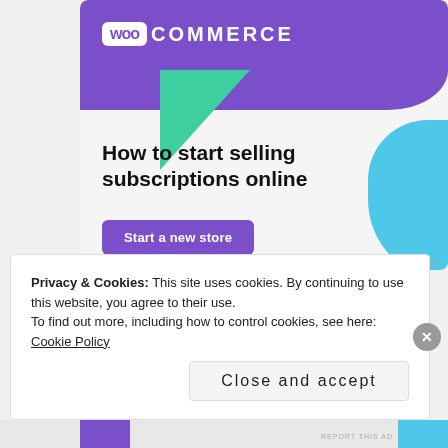[Figure (screenshot): WooCommerce advertisement banner with purple header, WooCommerce logo, decorative green triangle and blue shape, headline 'How to start selling subscriptions online', and a purple 'Start a new store' button]
REPORT THIS AD
Privacy & Cookies: This site uses cookies. By continuing to use this website, you agree to their use. To find out more, including how to control cookies, see here: Cookie Policy
Close and accept
REPORT THIS AD